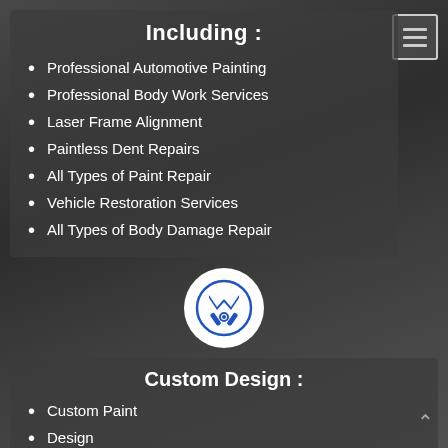Including :
Professional Automotive Painting
Professional Body Work Services
Laser Frame Alignment
Paintless Dent Repairs
All Types of Paint Repair
Vehicle Restoration Services
All Types of Body Damage Repair
[Figure (logo): Circular white logo with blue mechanic/wrench emblem]
Custom Design :
Custom Paint
Design
Airbrushing
Pinstripping